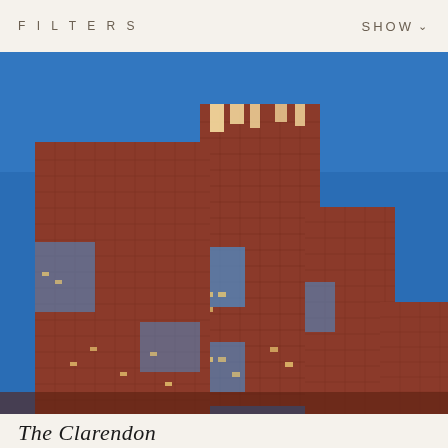FILTERS    SHOW
[Figure (photo): Exterior photograph of a tall modern residential skyscraper with red brick facade and blue curtain wall glass accents against a clear blue sky, with blurred autumn foliage in the lower right corner.]
The Clarendon